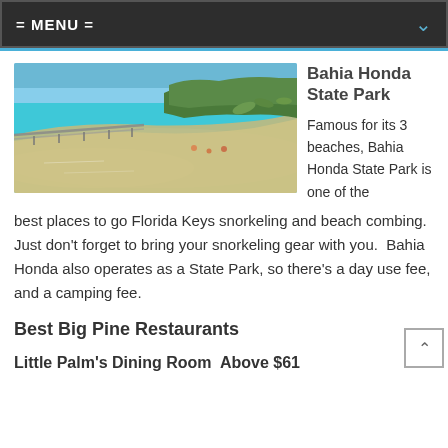= MENU =
[Figure (photo): Aerial view of Bahia Honda State Park showing turquoise water, sandy beach, and lush palm trees along Florida Keys]
Bahia Honda State Park
Famous for its 3 beaches, Bahia Honda State Park is one of the best places to go Florida Keys snorkeling and beach combing. Just don't forget to bring your snorkeling gear with you. Bahia Honda also operates as a State Park, so there's a day use fee, and a camping fee.
Best Big Pine Restaurants
Little Palm's Dining Room  Above $61